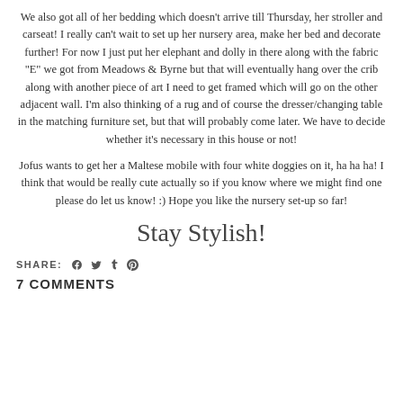We also got all of her bedding which doesn't arrive till Thursday, her stroller and carseat!  I really can't wait to set up her nursery area, make her bed and decorate further!  For now I just put her elephant and dolly in there along with the fabric "E" we got from Meadows & Byrne but that will eventually hang over the crib along with another piece of art I need to get framed which will go on the other adjacent wall.  I'm also thinking of a rug and of course the dresser/changing table in the matching furniture set, but that will probably come later.  We have to decide whether it's necessary in this house or not!
Jofus wants to get her a Maltese mobile with four white doggies on it, ha ha ha!  I think that would be really cute actually so if you know where we might find one please do let us know! :)  Hope you like the nursery set-up so far!
Stay Stylish!
SHARE:
7 COMMENTS